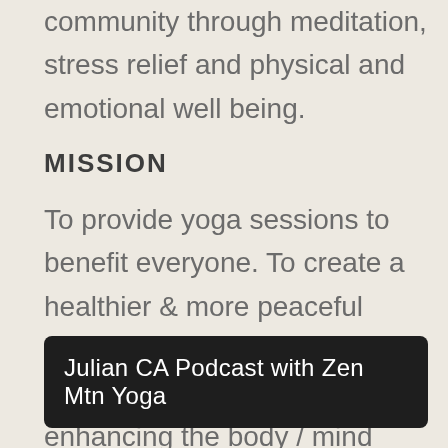community through meditation, stress relief and physical and emotional well being.
MISSION
To provide yoga sessions to benefit everyone. To create a healthier & more peaceful community. To serve our students while enriching and enhancing the body / mind connection.
Julian CA Podcast with Zen Mtn Yoga